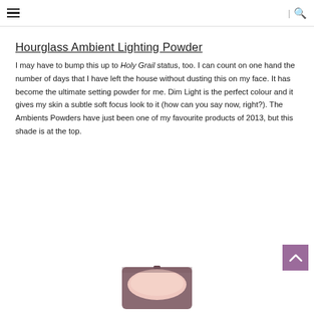Hourglass Ambient Lighting Powder
I may have to bump this up to Holy Grail status, too. I can count on one hand the number of days that I have left the house without dusting this on my face. It has become the ultimate setting powder for me. Dim Light is the perfect colour and it gives my skin a subtle soft focus look to it (how can you say now, right?). The Ambients Powders have just been one of my favourite products of 2013, but this shade is at the top.
[Figure (photo): Partial view of the Hourglass Ambient Lighting Powder compact product at the bottom of the page]